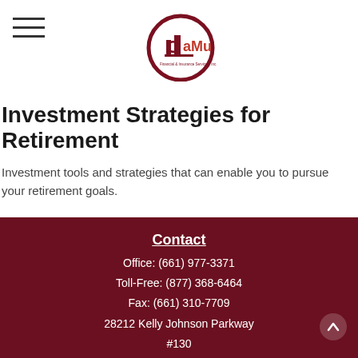[Figure (logo): CaMu Financial & Insurance Services, Inc. circular logo with building icon]
Investment Strategies for Retirement
Investment tools and strategies that can enable you to pursue your retirement goals.
Contact
Office: (661) 977-3371
Toll-Free: (877) 368-6464
Fax: (661) 310-7709
28212 Kelly Johnson Parkway
#130
Valencia, CA 91355
info@camu.biz
Quick Links